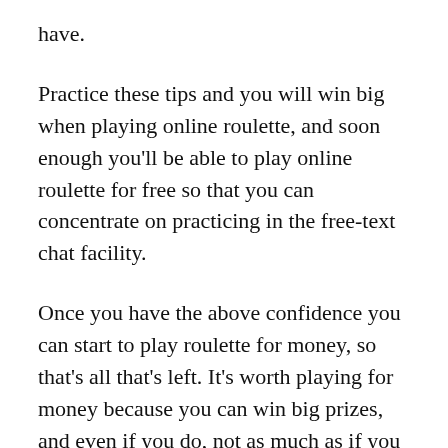have.
Practice these tips and you will win big when playing online roulette, and soon enough you'll be able to play online roulette for free so that you can concentrate on practicing in the free-text chat facility.
Once you have the above confidence you can start to play roulette for money, so that's all that's left. It's worth playing for money because you can win big prizes, and even if you do, not as much as if you played for roulette chips.
Don't waste your hard earned money on